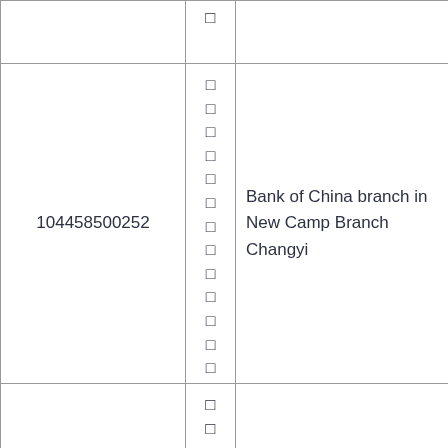|  | □ |  |
| 104458500252 | □
□
□
□
□
□
□
□
□
□
□
□
□ | Bank of China branch in New Camp Branch Changyi |
|  | □
□
□ |  |